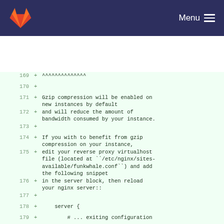GitLab navigation header with logo and Menu button
169 +  ^^^^^^^^^^^^^^^
170 +
171 + Gzip compression will be enabled on new instances by default
172 + and will reduce the amount of bandwidth consumed by your instance.
173 +
174 + If you with to benefit from gzip compression on your instance,
175 + edit your reverse proxy virtualhost file (located at ``/etc/nginx/sites-available/funkwhale.conf``) and add the following snippet
176 + in the server block, then reload your nginx server::
177 +
178 +     server {
179 +         # ... exiting configuration
180 +
181 +         # compression settings